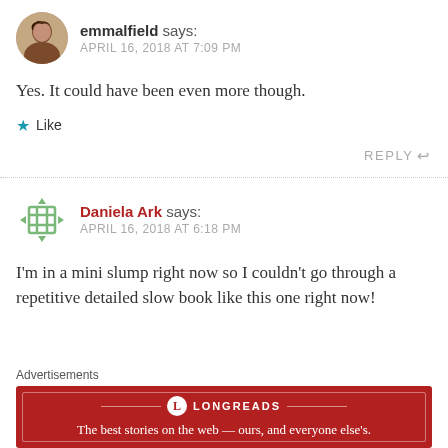[Figure (photo): Round avatar photo of emmalfield, a woman with dark hair]
emmalfield says: APRIL 16, 2018 AT 7:09 PM
Yes. It could have been even more though.
★ Like
REPLY ↩
[Figure (logo): Square grid/Gravatar icon for Daniela Ark]
Daniela Ark says: APRIL 16, 2018 AT 6:18 PM
I'm in a mini slump right now so I couldn't go through a repetitive detailed slow book like this one right now!
Advertisements
[Figure (infographic): Longreads ad banner: The best stories on the web — ours, and everyone else's.]